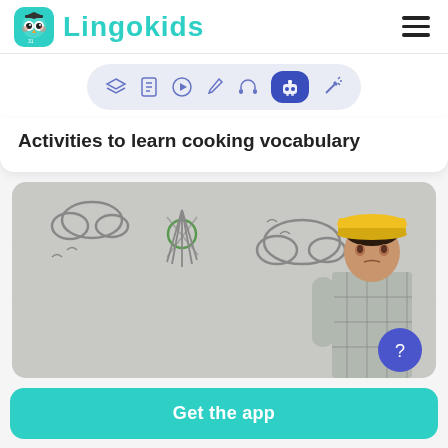Lingokids
[Figure (screenshot): Lingokids app icon toolbar with icons for: layers, document, play, pencil, headphones, robot (active/selected in blue), and flashlight]
Activities to learn cooking vocabulary
[Figure (photo): Child wearing a yellow construction hard hat looking up, against a concrete wall with chalk drawings of clouds, sun, and birds]
Get the app